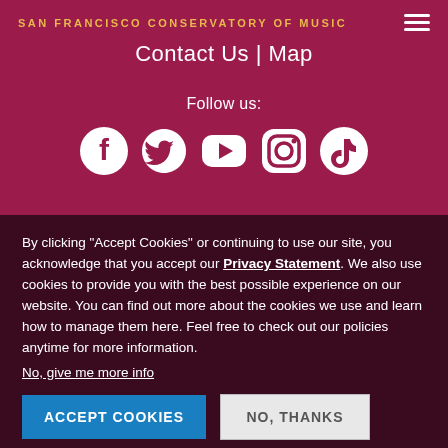SAN FRANCISCO CONSERVATORY OF MUSIC
Contact Us | Map
Follow us:
[Figure (illustration): Social media icons: Facebook, Twitter, YouTube, Instagram, TikTok — white icons on dark red background]
By clicking “Accept Cookies” or continuing to use our site, you acknowledge that you accept our Privacy Statement. We also use cookies to provide you with the best possible experience on our website. You can find out more about the cookies we use and learn how to manage them here. Feel free to check out our policies anytime for more information.
No, give me more info
ACCEPT COOKIES
NO, THANKS